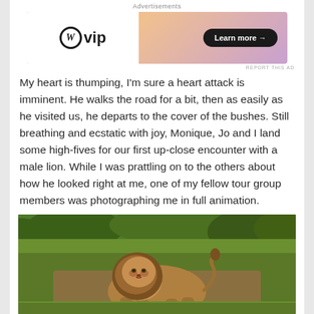Advertisements
[Figure (screenshot): WordPress VIP advertisement banner with orange/peach gradient background, WordPress logo on white left panel, and 'Learn more →' black pill button on the right]
REPORT THIS AD
My heart is thumping, I'm sure a heart attack is imminent.  He walks the road for a bit, then as easily as he visited us, he departs to the cover of the bushes.  Still breathing  and ecstatic with joy, Monique, Jo and I land some high-fives  for our first up-close encounter with a male lion. While I was prattling on to the others about how he looked right at me, one of my fellow tour group members was photographing me in full animation.
[Figure (photo): A male lion standing on a dirt path with green vegetation and trees in the background, looking toward the camera]